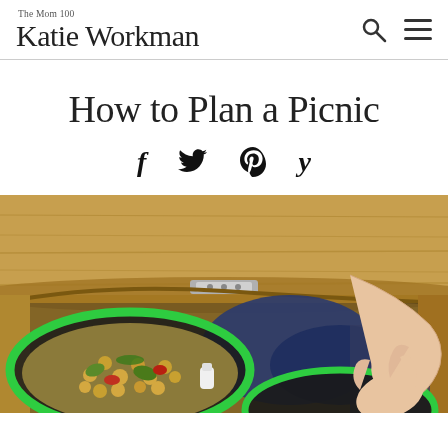The Mom 100 Katie Workman
How to Plan a Picnic
[Figure (illustration): Social media share icons: Facebook (f), Twitter (bird), Pinterest (P), Yummly (y)]
[Figure (photo): A wooden picnic basket being packed with reusable silicone zip-lock bags containing a chickpea and vegetable salad, and blue containers, with a hand visible reaching into the basket.]